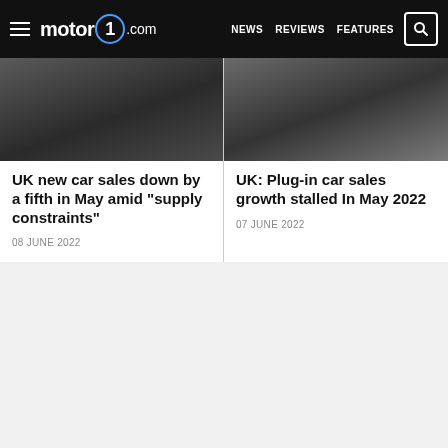motor1.com | NEWS | REVIEWS | FEATURES
[Figure (photo): Dark car image cropped, left article thumbnail]
UK new car sales down by a fifth in May amid "supply constraints"
08 JUNE 2022
[Figure (photo): Dark car image cropped, right article thumbnail]
UK: Plug-in car sales growth stalled In May 2022
07 JUNE 2022